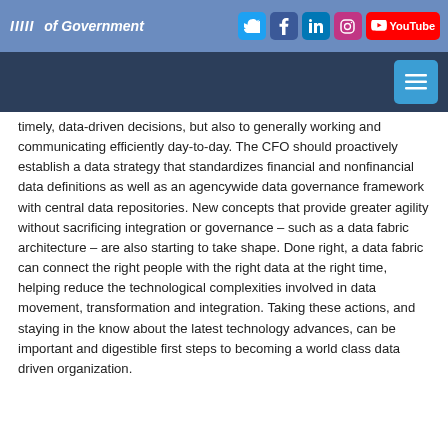Institute of Government — social media header bar
[Figure (screenshot): Navigation bar with hamburger/menu button on dark navy background]
timely, data-driven decisions, but also to generally working and communicating efficiently day-to-day. The CFO should proactively establish a data strategy that standardizes financial and nonfinancial data definitions as well as an agencywide data governance framework with central data repositories. New concepts that provide greater agility without sacrificing integration or governance – such as a data fabric architecture – are also starting to take shape. Done right, a data fabric can connect the right people with the right data at the right time, helping reduce the technological complexities involved in data movement, transformation and integration. Taking these actions, and staying in the know about the latest technology advances, can be important and digestible first steps to becoming a world class data driven organization.